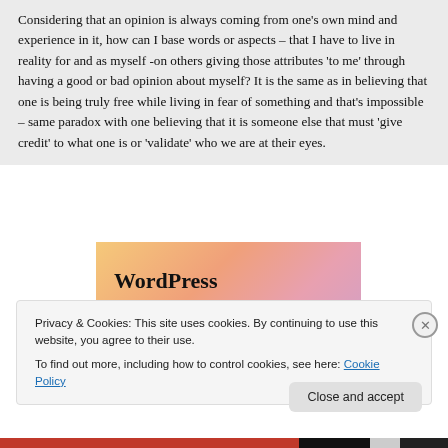Considering that an opinion is always coming from one's own mind and experience in it, how can I base words or aspects – that I have to live in reality for and as myself -on others giving those attributes 'to me' through having a good or bad opinion about myself? It is the same as in believing that one is being truly free while living in fear of something and that's impossible – same paradox with one believing that it is someone else that must 'give credit' to what one is or 'validate' who we are at their eyes.
[Figure (screenshot): WordPress advertisement banner with colorful gradient background (orange, pink, mauve) showing bold text 'WordPress in the back.']
Privacy & Cookies: This site uses cookies. By continuing to use this website, you agree to their use.
To find out more, including how to control cookies, see here: Cookie Policy
Close and accept